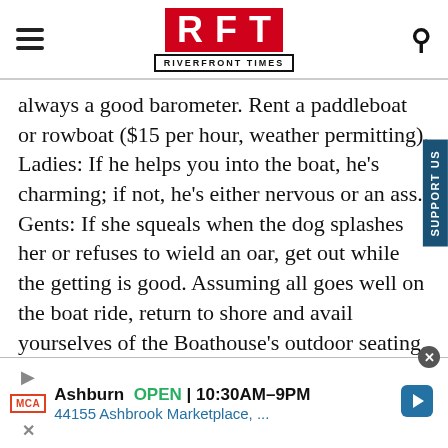RFT RIVERFRONT TIMES
always a good barometer. Rent a paddleboat or rowboat ($15 per hour, weather permitting). Ladies: If he helps you into the boat, he's charming; if not, he's either nervous or an ass. Gents: If she squeals when the dog splashes her or refuses to wield an oar, get out while the getting is good. Assuming all goes well on the boat ride, return to shore and avail yourselves of the Boathouse's outdoor seating. The restaurant offers plenty of date-friendly options, including pizzas. If things went really well, there's
[Figure (screenshot): Advertisement banner for MCA: Ashburn OPEN 10:30AM-9PM, 44155 Ashbrook Marketplace, ...]